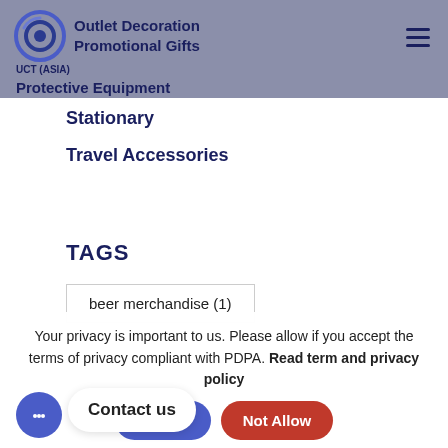[Figure (logo): UCT (ASIA) logo with circular eye icon in blue/dark blue]
Outlet Decoration
Promotional Gifts
Protective Equipment
Stationary
Travel Accessories
TAGS
beer merchandise (1)
Your privacy is important to us. Please allow if you accept the terms of privacy compliant with PDPA. Read term and privacy policy
Contact us
Allow
Not Allow